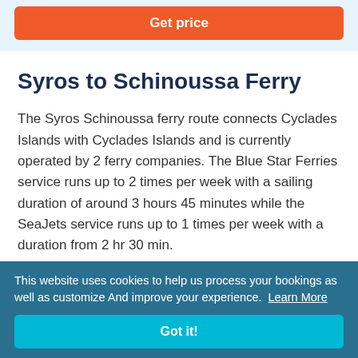Get price
Syros to Schinoussa Ferry
The Syros Schinoussa ferry route connects Cyclades Islands with Cyclades Islands and is currently operated by 2 ferry companies. The Blue Star Ferries service runs up to 2 times per week with a sailing duration of around 3 hours 45 minutes while the SeaJets service runs up to 1 times per week with a duration from 2 hr 30 min.
This website uses cookies to help us process your bookings as well as customize And improve your experience. Learn More
Got it!